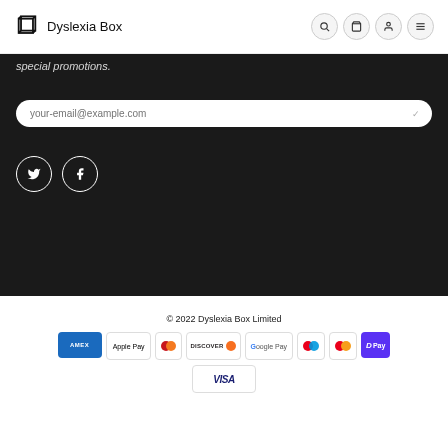Dyslexia Box
special promotions.
your-email@example.com
[Figure (other): Twitter and Facebook social media icon buttons (circle outlines with bird and f symbols)]
© 2022 Dyslexia Box Limited
[Figure (other): Payment method badges: AMEX, Apple Pay, Diners Club, Discover, Google Pay, Maestro, Mastercard, Shop Pay, Visa]